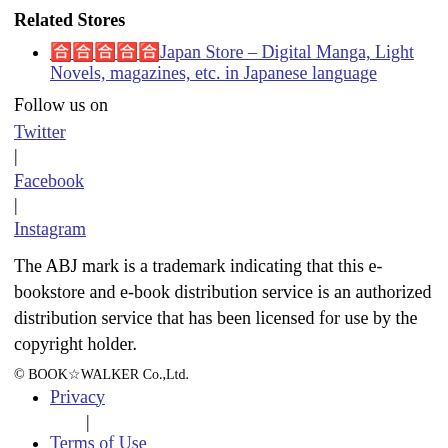Related Stores
🈵🈵🈵🈵🈵Japan Store – Digital Manga, Light Novels, magazines, etc. in Japanese language
Follow us on
Twitter
|
Facebook
|
Instagram
The ABJ mark is a trademark indicating that this e-bookstore and e-book distribution service is an authorized distribution service that has been licensed for use by the copyright holder.
© BOOK☆WALKER Co.,Ltd.
Privacy
Terms of Use
Popular Searches